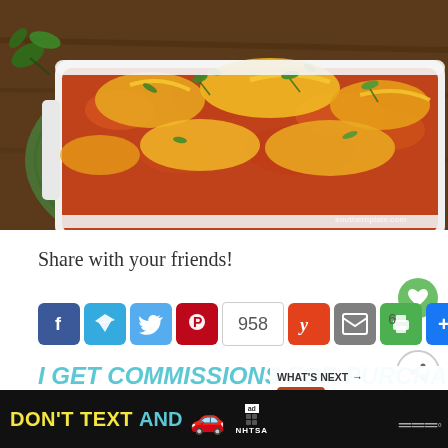[Figure (photo): Food photo: a baking dish of enchiladas or Mexican casserole topped with melted cheese and fresh cilantro, on a green placemat, on a wooden surface. Watermark visible bottom right.]
Share with your friends!
[Figure (infographic): Social share buttons row: Facebook (blue), Telegram (light blue), Twitter (blue), Pinterest (red), count box showing 958, Yummly (orange), Email (grey), Print (green), More (blue+). Heart button (green circle) and share icon button also visible. Count '6' shown.]
I GET COMMISSIONS FOR PURCHASES MADE THROUGH LINKS IN THIS POST.
AS AN AMAZON ASSOCIATE I EARN FROM QUALIFYING PURCHASES
[Figure (infographic): WHAT'S NEXT overlay with food thumbnail and text 'Beef Enchiladas...']
[Figure (infographic): Ad banner: DON'T TEXT AND [car emoji] with NHTSA ad badge and close button]